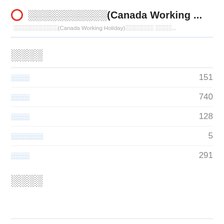░░░░░░░░░░░(Canada Working ...
░░░░░░░░░░░(Canada Working Holiday)░░░░░░░ ░░░░...
░░░░
░░░░  151
░░░░  740
░░░░  128
░░░░░░░  5
░░░░  291
░░░░